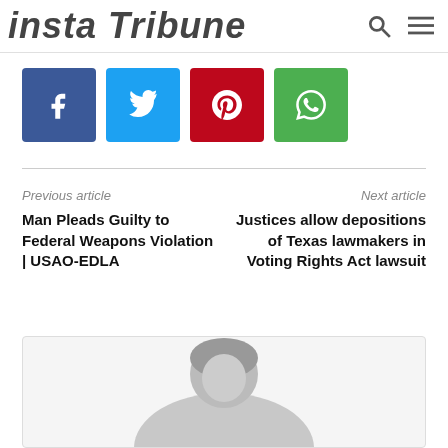insta Tribune
[Figure (infographic): Social share buttons row: Facebook (blue), Twitter (cyan), Pinterest (red), WhatsApp (green)]
Previous article
Next article
Man Pleads Guilty to Federal Weapons Violation | USAO-EDLA
Justices allow depositions of Texas lawmakers in Voting Rights Act lawsuit
[Figure (photo): Author profile photo — woman with dark hair, shown from shoulders up, smiling]